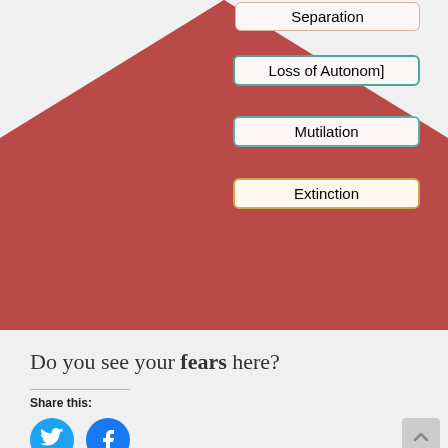[Figure (infographic): Partial triangle/pyramid diagram (bottom portion visible) in dark red/rose color with labeled boxes on the right side: Separation, Loss of Autonomy, Mutilation, Extinction]
Do you see your fears here?
Share this:
[Figure (other): Twitter and Facebook social share buttons (circular blue icons)]
Tagged on:   fear factor